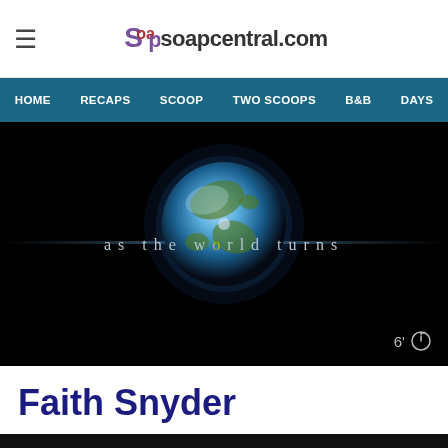soapcentral.com
[Figure (screenshot): Navigation bar with links: HOME, RECAPS, SCOOP, TWO SCOOPS, B&B, DAYS on a teal/dark blue background]
[Figure (photo): As the World Turns show title card: dark background with glowing blue globe and text 'as the world turns' in spaced letters. Duration badge showing 6' with a timer icon in bottom right corner.]
Faith Snyder